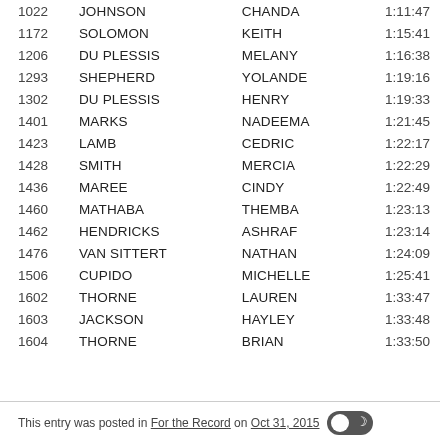| # | Last Name | First Name | Time |
| --- | --- | --- | --- |
| 1022 | JOHNSON | CHANDA | 1:11:47 |
| 1172 | SOLOMON | KEITH | 1:15:41 |
| 1206 | DU PLESSIS | MELANY | 1:16:38 |
| 1293 | SHEPHERD | YOLANDE | 1:19:16 |
| 1302 | DU PLESSIS | HENRY | 1:19:33 |
| 1401 | MARKS | NADEEMA | 1:21:45 |
| 1423 | LAMB | CEDRIC | 1:22:17 |
| 1428 | SMITH | MERCIA | 1:22:29 |
| 1436 | MAREE | CINDY | 1:22:49 |
| 1460 | MATHABA | THEMBA | 1:23:13 |
| 1462 | HENDRICKS | ASHRAF | 1:23:14 |
| 1476 | VAN SITTERT | NATHAN | 1:24:09 |
| 1506 | CUPIDO | MICHELLE | 1:25:41 |
| 1602 | THORNE | LAUREN | 1:33:47 |
| 1603 | JACKSON | HAYLEY | 1:33:48 |
| 1604 | THORNE | BRIAN | 1:33:50 |
This entry was posted in For the Record on Oct 31, 2015